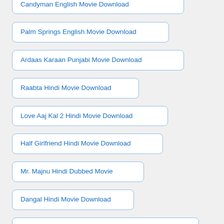Candyman English Movie Download
Palm Springs English Movie Download
Ardaas Karaan Punjabi Movie Download
Raabta Hindi Movie Download
Love Aaj Kal 2 Hindi Movie Download
Half Girlfriend Hindi Movie Download
Mr. Majnu Hindi Dubbed Movie
Dangal Hindi Movie Download
Naanu Matthu Gunda Kannada Movie Download